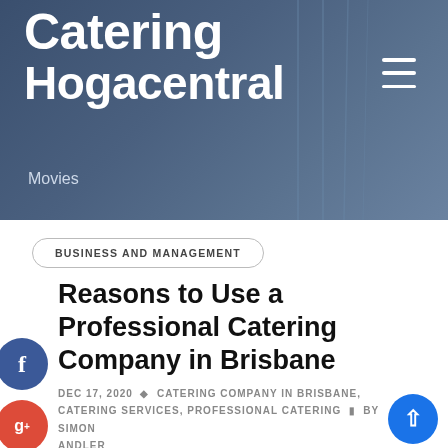Catering Hogacentral
Movies
BUSINESS AND MANAGEMENT
Reasons to Use a Professional Catering Company in Brisbane
DEC 17, 2020  CATERING COMPANY IN BRISBANE, CATERING SERVICES, PROFESSIONAL CATERING  BY SIMON ANDLER
A professional company is not just a business provides food. It also checks the quality of food,